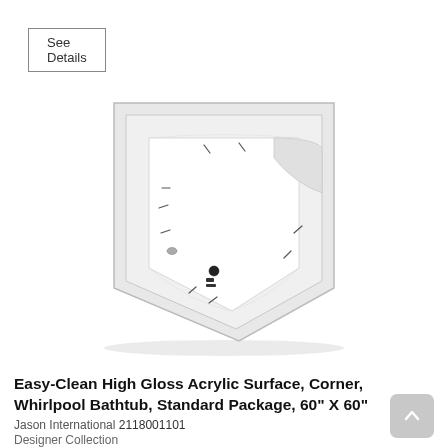See Details
[Figure (photo): Top-down view of a white corner whirlpool bathtub with jets, showing triangular/pentagonal shape designed to fit in a corner]
Easy-Clean High Gloss Acrylic Surface, Corner, Whirlpool Bathtub, Standard Package, 60" X 60"
Jason International 2118001101
Designer Collection